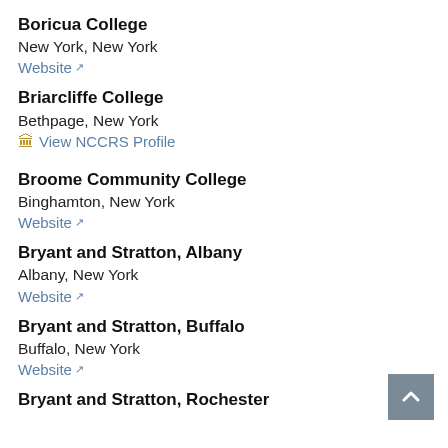Boricua College
New York, New York
Website
Briarcliffe College
Bethpage, New York
View NCCRS Profile
Broome Community College
Binghamton, New York
Website
Bryant and Stratton, Albany
Albany, New York
Website
Bryant and Stratton, Buffalo
Buffalo, New York
Website
Bryant and Stratton, Rochester